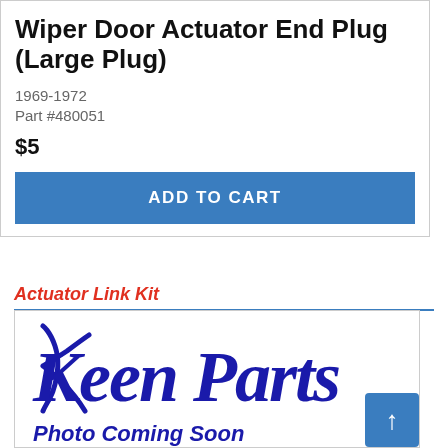Wiper Door Actuator End Plug (Large Plug)
1969-1972
Part #480051
$5
ADD TO CART
Actuator Link Kit
[Figure (logo): Keen Parts script logo in dark blue on white background, with 'Photo Coming Soon' text below in bold dark blue italic font]